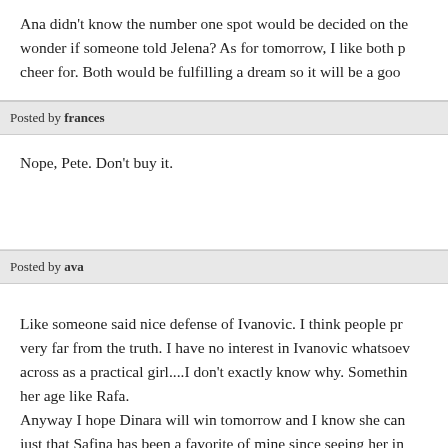Ana didn't know the number one spot would be decided on the wonder if someone told Jelena? As for tomorrow, I like both p cheer for. Both would be fulfilling a dream so it will be a goo
Posted by frances
Nope, Pete. Don't buy it.
Posted by ava
Like someone said nice defense of Ivanovic. I think people pr very far from the truth. I have no interest in Ivanovic whatsoev across as a practical girl....I don't exactly know why. Somethin her age like Rafa.
Anyway I hope Dinara will win tomorrow and I know she can just that Safina has been a favorite of mine since seeing her in RAFA AND DINARA FOR FO2008!